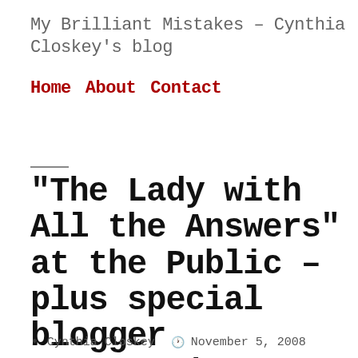My Brilliant Mistakes – Cynthia Closkey's blog
Home   About   Contact
“The Lady with All the Answers” at the Public – plus special blogger opportunity
Cynthia Closkey   November 5, 2008